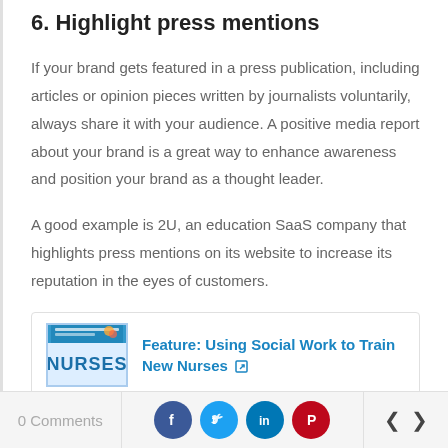6. Highlight press mentions
If your brand gets featured in a press publication, including articles or opinion pieces written by journalists voluntarily, always share it with your audience. A positive media report about your brand is a great way to enhance awareness and position your brand as a thought leader.
A good example is 2U, an education SaaS company that highlights press mentions on its website to increase its reputation in the eyes of customers.
[Figure (screenshot): Card showing a magazine cover image for NURSES with a link: Feature: Using Social Work to Train New Nurses with external link icon]
0 Comments | Facebook share | Twitter share | LinkedIn share | Pinterest share | < | >